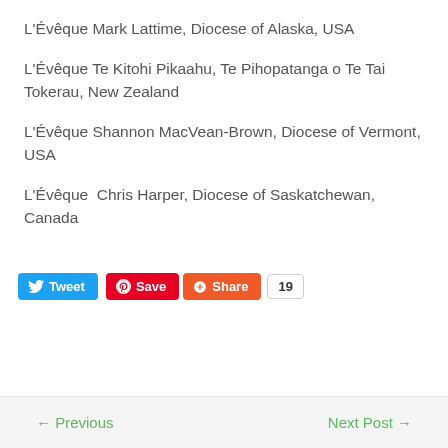L'Évêque Mark Lattime, Diocese of Alaska, USA
L'Évêque Te Kitohi Pikaahu, Te Pihopatanga o Te Tai Tokerau, New Zealand
L'Évêque Shannon MacVean-Brown, Diocese of Vermont, USA
L'Évêque  Chris Harper, Diocese of Saskatchewan, Canada
[Figure (other): Social sharing buttons: Tweet (blue), Save (red/Pinterest), Share (orange/Google+), and a count badge showing 19]
← Previous    Next Post →